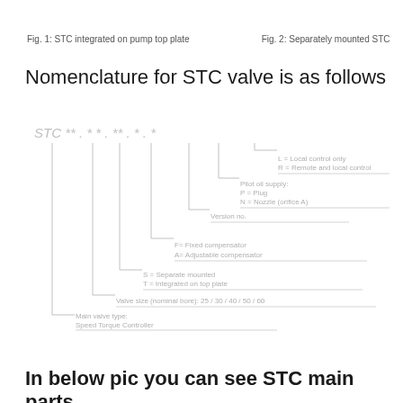Fig. 1:  STC integrated on pump top plate
Fig. 2:  Separately mounted STC
Nomenclature for STC valve is as follows
[Figure (schematic): Nomenclature diagram for STC valve showing breakdown of part code: STC **-* *-**-*-* with branches indicating: L = Local control only / R = Remote and local control; Pilot oil supply: P = Plug / N = Nozzle (orifice A); Version no.; F= Fixed compensator / A= Adjustable compensator; S = Separate mounted / T = Integrated on top plate; Valve size (nominal bore): 25/30/40/50/60; Main valve type: Speed Torque Controller]
In below pic you can see STC main parts